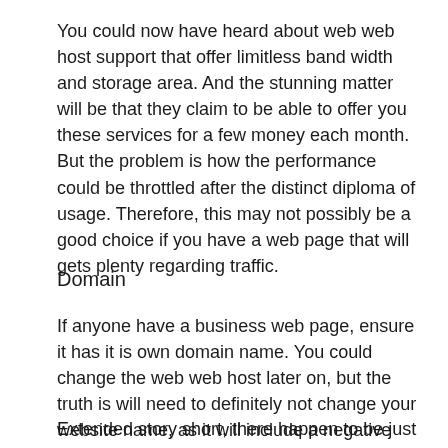You could now have heard about web web host support that offer limitless band width and storage area. And the stunning matter will be that they claim to be able to offer you these services for a few money each month. But the problem is how the performance could be throttled after the distinct diploma of usage. Therefore, this may not possibly be a good choice if you have a web page that will gets plenty regarding traffic.
Domain
If anyone have a business web page, ensure it has it is own domain name. You could change the web web host later on, but the truth is will need to definitely not change your website name, as it will include a negative affect this amount of traffic together with the ranking you might have received on search engines.
Extended story short, there happen to be just some of